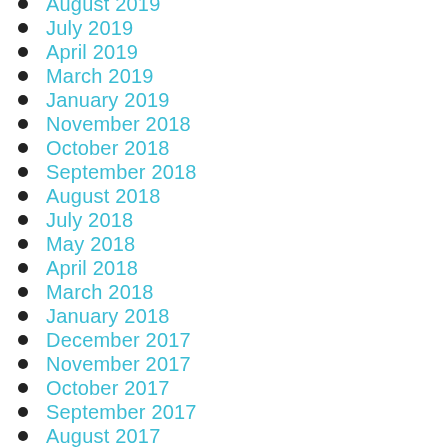August 2019
July 2019
April 2019
March 2019
January 2019
November 2018
October 2018
September 2018
August 2018
July 2018
May 2018
April 2018
March 2018
January 2018
December 2017
November 2017
October 2017
September 2017
August 2017